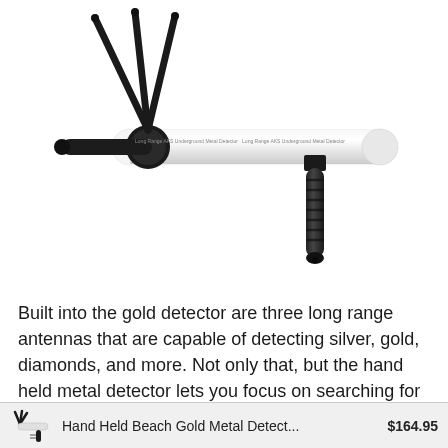[Figure (photo): Long Range AKS Underground Metal Detector laid horizontally on white background, with three black antennas extending diagonally upward from left end, and a black textured grip handle attached perpendicular on the right side.]
Built into the gold detector are three long range antennas that are capable of detecting silver, gold, diamonds, and more. Not only that, but the hand held metal detector lets you focus on searching for specifi...
Hand Held Beach Gold Metal Detect... $164.95